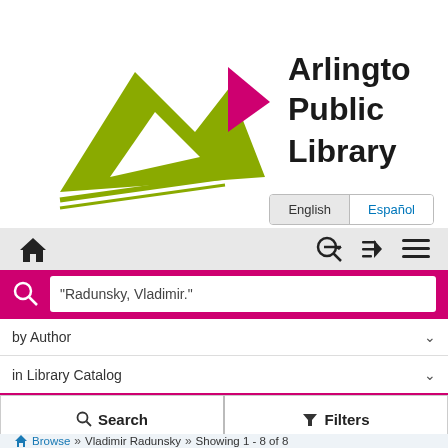[Figure (logo): Arlington Public Library logo with olive green book/mountain shape and pink triangle, bold black text reading 'Arlington Public Library']
English   Español
[Figure (screenshot): Navigation bar with home icon, login arrow icon, and hamburger menu icon on gray background]
"Radunsky, Vladimir."
by Author
in Library Catalog
🔍 Search   🔽 Filters
Browse » Vladimir Radunsky » Showing 1 - 8 of 8